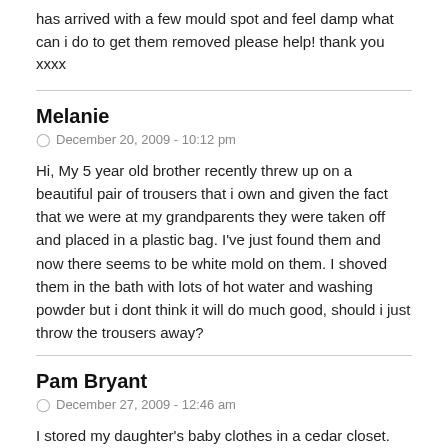has arrived with a few mould spot and feel damp what can i do to get them removed please help! thank you xxxx
Melanie
December 20, 2009 - 10:12 pm
Hi, My 5 year old brother recently threw up on a beautiful pair of trousers that i own and given the fact that we were at my grandparents they were taken off and placed in a plastic bag. I've just found them and now there seems to be white mold on them. I shoved them in the bath with lots of hot water and washing powder but i dont think it will do much good, should i just throw the trousers away?
Pam Bryant
December 27, 2009 - 12:46 am
I stored my daughter's baby clothes in a cedar closet. However, some of the clothes now have brown spots on them. Is this black mold? Are the clothes saveable or does the mold danger override trying to save the clothes? Thanks for your help!